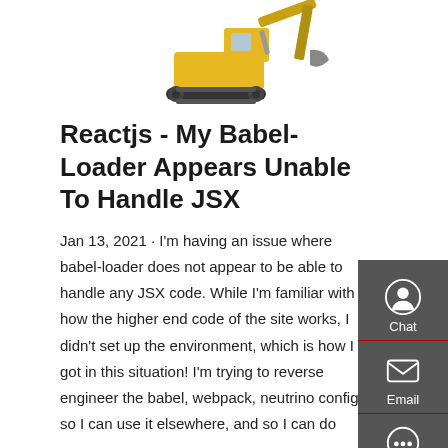[Figure (photo): Yellow construction excavator/digger viewed from the side, partially cropped at top]
Reactjs - My Babel-Loader Appears Unable To Handle JSX
Jan 13, 2021 · I'm having an issue where babel-loader does not appear to be able to handle any JSX code. While I'm familiar with how the higher end code of the site works, I didn't set up the environment, which is how I got in this situation! I'm trying to reverse engineer the babel, webpack, neutrino config so I can use it elsewhere, and so I can do some
Get a quote